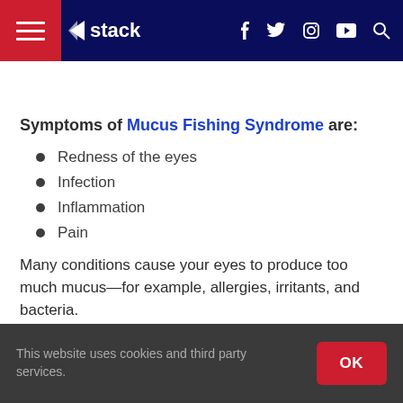Stack — navigation bar with hamburger menu, Stack logo, social icons (f, Twitter, Instagram, YouTube), and search icon
Symptoms of Mucus Fishing Syndrome are:
Redness of the eyes
Infection
Inflammation
Pain
Many conditions cause your eyes to produce too much mucus—for example, allergies, irritants, and bacteria.
This website uses cookies and third party services. OK